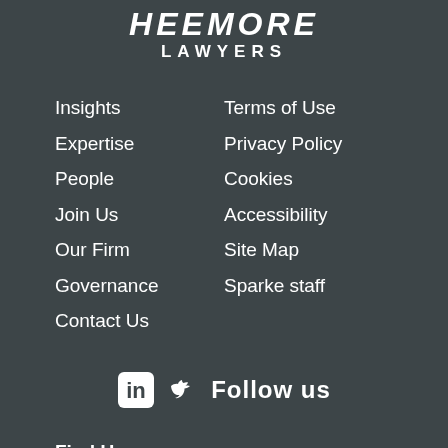SPARKE HELMORE LAWYERS
Insights
Expertise
People
Join Us
Our Firm
Governance
Contact Us
Terms of Use
Privacy Policy
Cookies
Accessibility
Site Map
Sparke staff
Follow us
Find Us: Adelaide • Brisbane • Canberra • Darwin •